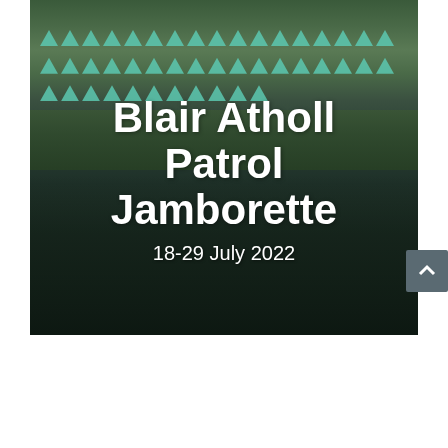[Figure (photo): Outdoor photo of Blair Atholl Patrol Jamborette showing rows of teal/green tents on a field in the background and a large crowd of people seated in the foreground watching an event. The image has a dark overlay. Bold white text overlaid reads 'Blair Atholl Patrol Jamborette' and '18-29 July 2022'. A grey scroll-to-top button with an upward arrow is visible on the right side.]